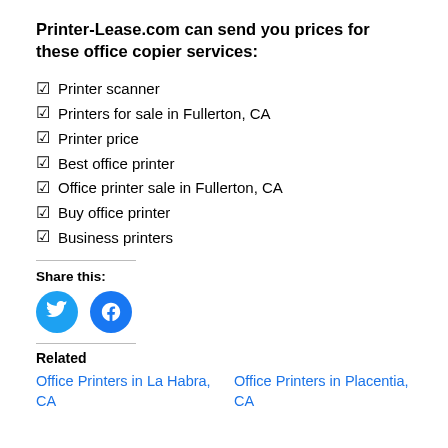Printer-Lease.com can send you prices for these office copier services:
Printer scanner
Printers for sale in Fullerton, CA
Printer price
Best office printer
Office printer sale in Fullerton, CA
Buy office printer
Business printers
Share this:
[Figure (illustration): Twitter and Facebook social share icon buttons (circular, blue)]
Related
Office Printers in La Habra, CA
Office Printers in Placentia, CA